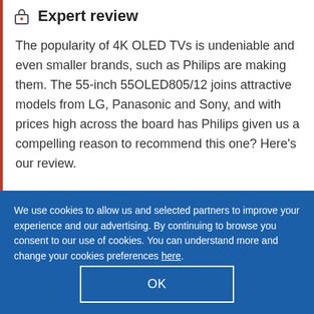Expert review
The popularity of 4K OLED TVs is undeniable and even smaller brands, such as Philips are making them. The 55-inch 55OLED805/12 joins attractive models from LG, Panasonic and Sony, and with prices high across the board has Philips given us a compelling reason to recommend this one? Here’s our review.
We use cookies to allow us and selected partners to improve your experience and our advertising. By continuing to browse you consent to our use of cookies. You can understand more and change your cookies preferences here.